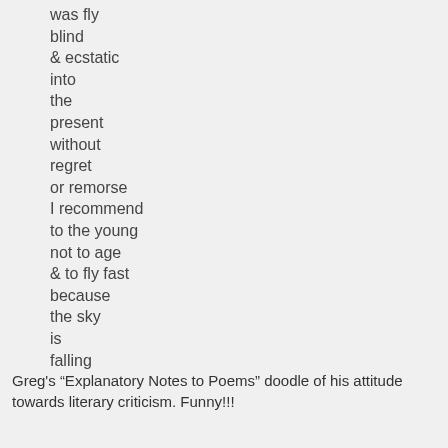was fly
blind
& ecstatic
into
the
present
without
regret
or remorse
I recommend
to the young
not to age
& to fly fast
because
the sky
is
falling
Greg's “Explanatory Notes to Poems” doodle of his attitude towards literary criticism. Funny!!!